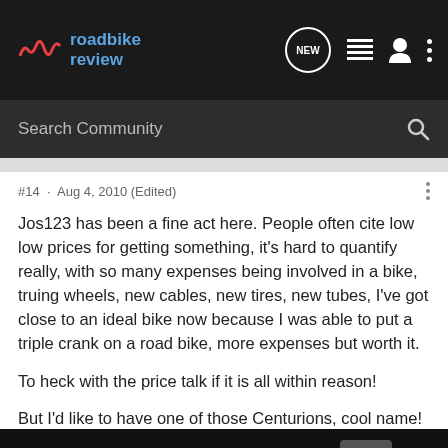roadbike review
#14 · Aug 4, 2010 (Edited)
Jos123 has been a fine act here. People often cite low low prices for getting something, it's hard to quantify really, with so many expenses being involved in a bike, truing wheels, new cables, new tires, new tubes, I've got close to an ideal bike now because I was able to put a triple crank on a road bike, more expenses but worth it.

To heck with the price talk if it is all within reason!

But I'd like to have one of those Centurions, cool name! Or at least give one a ride, I've always heard good things about them.
[Figure (screenshot): Cabela's HIGHEST-RATED GEAR advertisement banner with 4.2 star rating and product thumbnail]